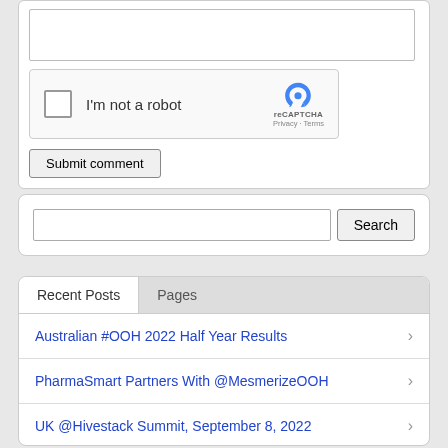[Figure (screenshot): Text area input box (empty), partial view at top]
[Figure (screenshot): reCAPTCHA widget with checkbox labeled 'I'm not a robot' and reCAPTCHA logo]
Submit comment
[Figure (screenshot): Search input box with Search button]
Recent Posts
Pages
Australian #OOH 2022 Half Year Results
PharmaSmart Partners With @MesmerizeOOH
UK @Hivestack Summit, September 8, 2022
Electric Cars 2023-2043 @IDTechEx Report